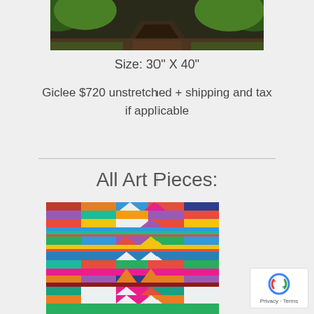[Figure (photo): Partial photo of a wooded path at the top of the page]
Size: 30" X 40"
Giclee $720 unstretched + shipping and tax if applicable
All Art Pieces:
[Figure (illustration): Colorful abstract geometric art piece with horizontal stripes and chevron patterns in many colors]
[Figure (other): reCAPTCHA badge with privacy and terms links]